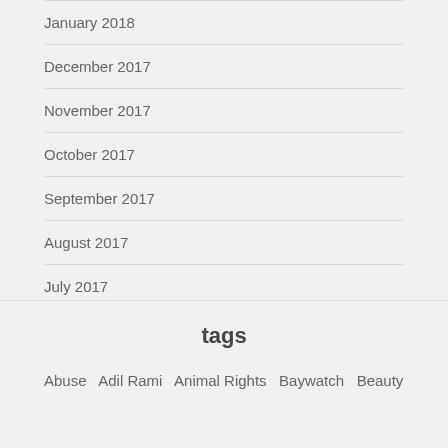January 2018
December 2017
November 2017
October 2017
September 2017
August 2017
July 2017
tags
Abuse  Adil Rami  Animal Rights  Baywatch  Beauty